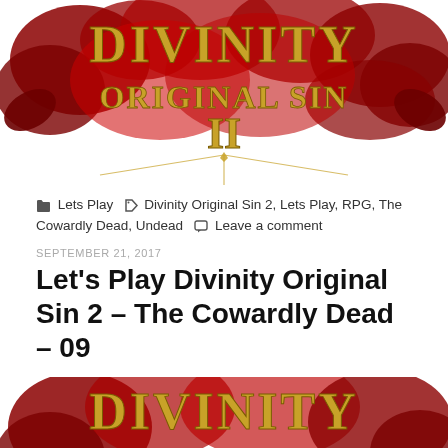[Figure (photo): Divinity Original Sin 2 game logo with gold lettering and red decorative elements on white background, showing top portion of logo]
Lets Play  ◆  Divinity Original Sin 2, Lets Play, RPG, The Cowardly Dead, Undead  💬  Leave a comment
SEPTEMBER 21, 2017
Let's Play Divinity Original Sin 2 – The Cowardly Dead – 09
[Figure (photo): Divinity Original Sin game logo with gold lettering and red decorative elements, showing partial bottom portion]